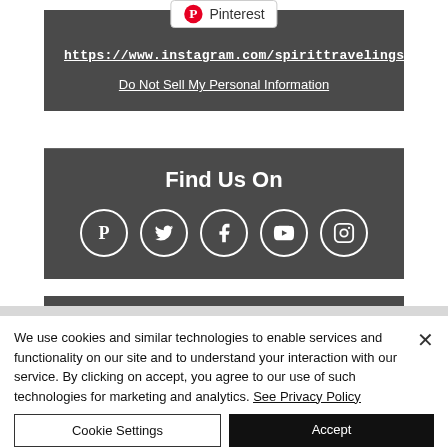[Figure (logo): Pinterest badge/button with Pinterest logo icon and text 'Pinterest']
https://www.instagram.com/spirittravelings/
Do Not Sell My Personal Information
Find Us On
[Figure (infographic): Five social media icons in white circles on dark background: Pinterest, Twitter, Facebook, YouTube, Instagram]
We use cookies and similar technologies to enable services and functionality on our site and to understand your interaction with our service. By clicking on accept, you agree to our use of such technologies for marketing and analytics. See Privacy Policy